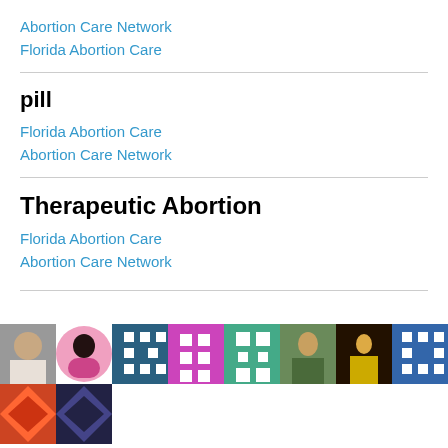Abortion Care Network
Florida Abortion Care
pill
Florida Abortion Care
Abortion Care Network
Therapeutic Abortion
Florida Abortion Care
Abortion Care Network
[Figure (photo): A grid of user avatar thumbnails showing various people and decorative tile patterns in multiple colors including teal, magenta, green, and blue geometric designs.]